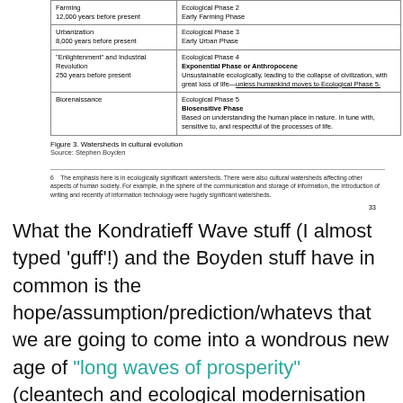|  |  |
| --- | --- |
| Farming
12,000 years before present | Ecological Phase 2
Early Farming Phase |
| Urbanization
8,000 years before present | Ecological Phase 3
Early Urban Phase |
| "Enlightenment" and Industrial Revolution
250 years before present | Ecological Phase 4
Exponential Phase or Anthropocene
Unsustainable ecologically, leading to the collapse of civilization, with great loss of life—unless humankind moves to Ecological Phase 5. |
| Biorenaissance | Ecological Phase 5
Biosensitive Phase
Based on understanding the human place in nature. In tune with, sensitive to, and respectful of the processes of life. |
Figure 3. Watersheds in cultural evolution
Source: Stephen Boyden
6    The emphasis here is in ecologically significant watersheds. There were also cultural watersheds affecting other aspects of human society. For example, in the sphere of the communication and storage of information, the introduction of writing and recently of information technology were hugely significant watersheds.
33
What the Kondratieff Wave stuff (I almost typed 'guff'!) and the Boyden stuff have in common is the hope/assumption/prediction/whatevs that we are going to come into a wondrous new age of “long waves of prosperity” (cleantech and ecological modernisation and the uber-fication of everything) and 'biorenaissance.'